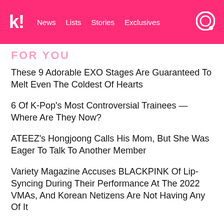k! News Lists Stories Exclusives
FOR YOU
These 9 Adorable EXO Stages Are Guaranteed To Melt Even The Coldest Of Hearts
6 Of K-Pop's Most Controversial Trainees — Where Are They Now?
ATEEZ's Hongjoong Calls His Mom, But She Was Eager To Talk To Another Member
Variety Magazine Accuses BLACKPINK Of Lip-Syncing During Their Performance At The 2022 VMAs, And Korean Netizens Are Not Having Any Of It
Actor Kang Tae Oh Personally Announces He Will Enlist In The Military On September 20
NEXT ARTICLE